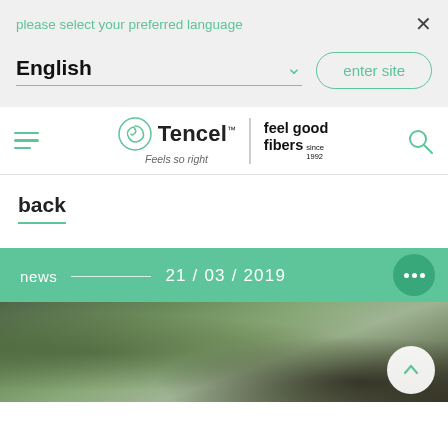please select your preferred language
English
enter site
[Figure (logo): Tencel logo with spiral shell icon, tagline 'Feels so right', and 'feel good fibers since 1992' text]
back
news — 21 / 03 / 2019
[Figure (photo): Blurred outdoor forest scene with person visible in bottom right area]